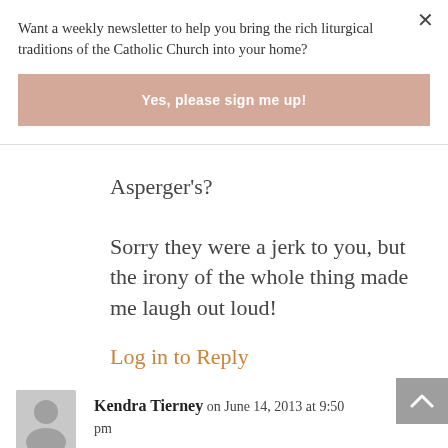Want a weekly newsletter to help you bring the rich liturgical traditions of the Catholic Church into your home?
Yes, please sign me up!
Asperger's?
Sorry they were a jerk to you, but the irony of the whole thing made me laugh out loud!
Log in to Reply
Kendra Tierney on June 14, 2013 at 9:50 pm